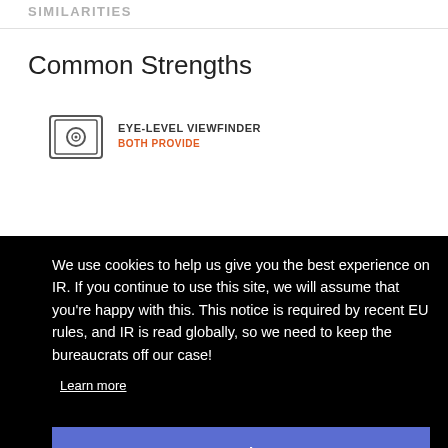SIMILARITIES
Common Strengths
[Figure (illustration): Eye-level viewfinder icon - camera viewfinder graphic]
EYE-LEVEL VIEWFINDER
BOTH PROVIDE
is out
We use cookies to help us give you the best experience on IR. If you continue to use this site, we will assume that you're happy with this. This notice is required by recent EU rules, and IR is read globally, so we need to keep the bureaucrats off our case!
Learn more
Got it!
BOTH PROVIDE